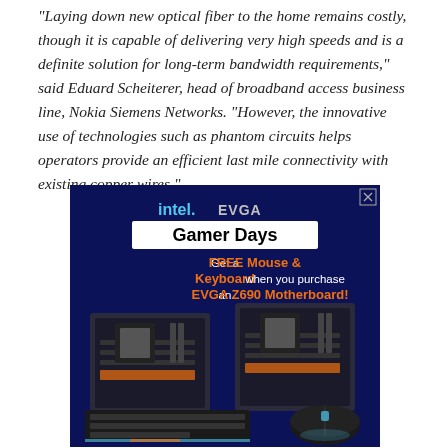"Laying down new optical fiber to the home remains costly, though it is capable of delivering very high speeds and is a definite solution for long-term bandwidth requirements," said Eduard Scheiterer, head of broadband access business line, Nokia Siemens Networks. "However, the innovative use of technologies such as phantom circuits helps operators provide an efficient last mile connectivity with existing copper wires."
[Figure (other): Advertisement for Intel and EVGA Gamer Days promotion. Dark blue background with Intel and EVGA logos. White box with 'Gamer Days' text. Promotional text: 'Get a FREE Mouse & Keyboard when you purchase an EVGA Z690 Motherboard!' with images of gaming motherboards, keyboard and mouse.]